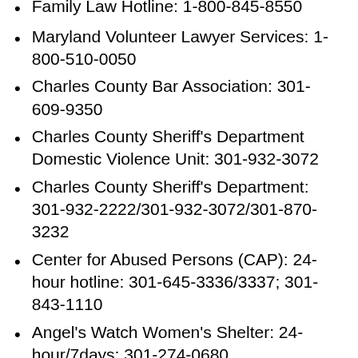Family Law Hotline: 1-800-845-8550
Maryland Volunteer Lawyer Services: 1-800-510-0050
Charles County Bar Association: 301-609-9350
Charles County Sheriff's Department Domestic Violence Unit: 301-932-3072
Charles County Sheriff's Department: 301-932-2222/301-932-3072/301-870-3232
Center for Abused Persons (CAP): 24-hour hotline: 301-645-3336/3337; 301-843-1110
Angel's Watch Women's Shelter: 24-hour/7days: 301-274-0680
Domestic Violence Coordinator 301-609-6223
Civil Court Clerk 301-932-3215 District Court